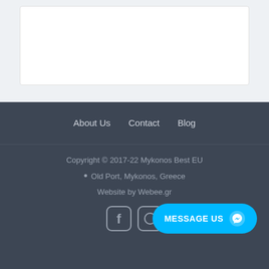[Figure (other): White card/box on light gray background]
About Us   Contact   Blog
Copyright © 2017-22 Mykonos Best EU
Old Port, Mykonos, Greece
Website by Webee.gr
[Figure (logo): Facebook and Instagram social media icons]
MESSAGE US